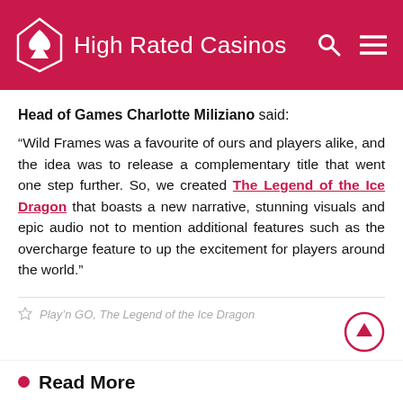High Rated Casinos
Head of Games Charlotte Miliziano said: “Wild Frames was a favourite of ours and players alike, and the idea was to release a complementary title that went one step further. So, we created The Legend of the Ice Dragon that boasts a new narrative, stunning visuals and epic audio not to mention additional features such as the overcharge feature to up the excitement for players around the world.”
Play’n GO, The Legend of the Ice Dragon
Read More